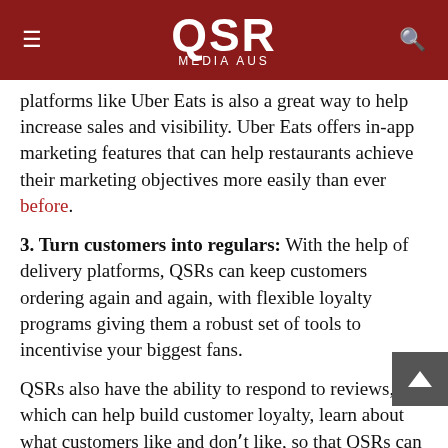QSR MEDIA AUS
platforms like Uber Eats is also a great way to help increase sales and visibility. Uber Eats offers in-app marketing features that can help restaurants achieve their marketing objectives more easily than ever before.
3. Turn customers into regulars: With the help of delivery platforms, QSRs can keep customers ordering again and again, with flexible loyalty programs giving them a robust set of tools to incentivise your biggest fans.
QSRs also have the ability to respond to reviews, which can help build customer loyalty, learn about what customers like and don't like, so that QSRs can improve their offerings.
4. Run your business on your terms: Delivery platforms provide QSRs with easy-to-use technology that can help them accept more orders and customise their offerings.